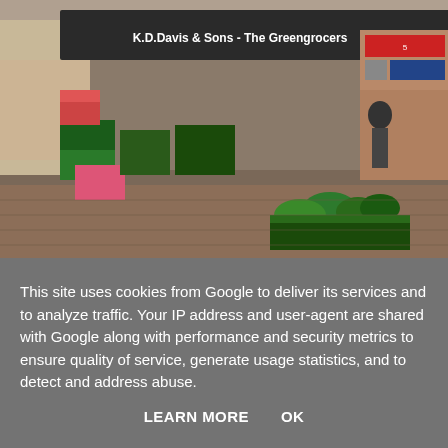[Figure (photo): Outdoor street market scene showing a stall with a dark canopy reading 'K.D.Davis & Sons - The Greengrocers'. Crates and boxes of fruit and vegetables including watermelons are displayed on the ground. High street shops visible in background.]
Stall in street market
The name translates as 'Roman Fort on the River Don' which exactly describes the occupation during the 1st-4th centuries
This site uses cookies from Google to deliver its services and to analyze traffic. Your IP address and user-agent are shared with Google along with performance and security metrics to ensure quality of service, generate usage statistics, and to detect and address abuse.